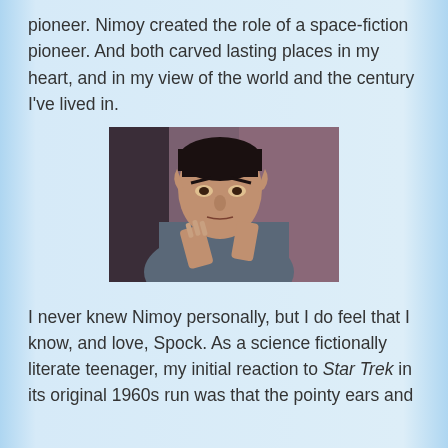pioneer. Nimoy created the role of a space-fiction pioneer. And both carved lasting places in my heart, and in my view of the world and the century I've lived in.
[Figure (photo): Black and white / color photograph of Leonard Nimoy as Spock from Star Trek, in character with pointed ears and dark hair with bowl cut, wearing a blue-grey Star Trek uniform, with his hands raised as if gesturing, looking intensely at something off-camera.]
I never knew Nimoy personally, but I do feel that I know, and love, Spock. As a science fictionally literate teenager, my initial reaction to Star Trek in its original 1960s run was that the pointy ears and